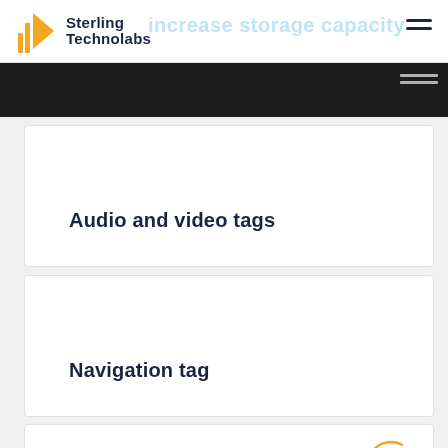Sterling Technolabs
increase storage capacity
Audio and video tags
Navigation tag
Email attribute